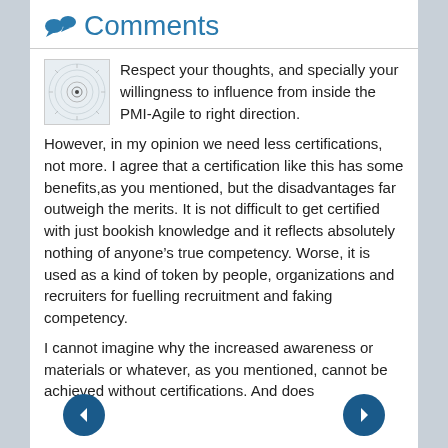Comments
Respect your thoughts, and specially your willingness to influence from inside the PMI-Agile to right direction.
However, in my opinion we need less certifications, not more. I agree that a certification like this has some benefits,as you mentioned, but the disadvantages far outweigh the merits. It is not difficult to get certified with just bookish knowledge and it reflects absolutely nothing of anyone’s true competency. Worse, it is used as a kind of token by people, organizations and recruiters for fuelling recruitment and faking competency.
I cannot imagine why the increased awareness or materials or whatever, as you mentioned, cannot be achieved without certifications. And does